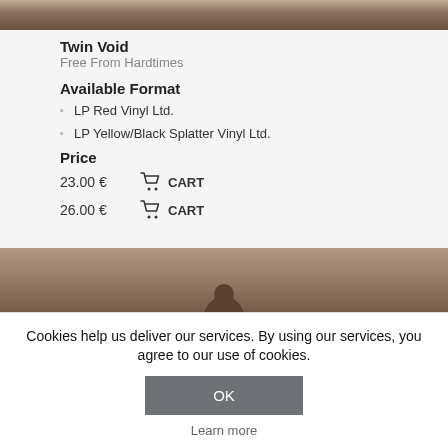[Figure (photo): Top portion of an album cover image with dark brownish tones]
Twin Void
Free From Hardtimes
Available Format
LP Red Vinyl Ltd.
LP Yellow/Black Splatter Vinyl Ltd.
Price
23.00 €  🛒 CART
26.00 €  🛒 CART
[Figure (photo): Bottom portion of an album cover image with dark brownish tones and a figure silhouette]
Cookies help us deliver our services. By using our services, you agree to our use of cookies.
OK
Learn more